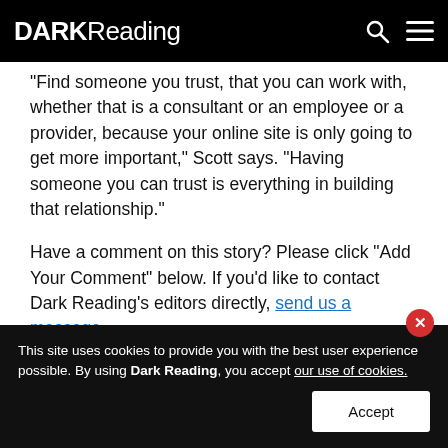DARK Reading
"Find someone you trust, that you can work with, whether that is a consultant or an employee or a provider, because your online site is only going to get more important," Scott says. "Having someone you can trust is everything in building that relationship."
Have a comment on this story? Please click "Add Your Comment" below. If you'd like to contact Dark Reading's editors directly, send us a message.
Attacks/Breaches
Application Security
This site uses cookies to provide you with the best user experience possible. By using Dark Reading, you accept our use of cookies.